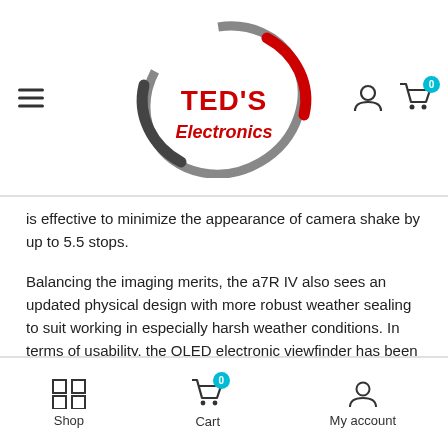TED'S Electronics
is effective to minimize the appearance of camera shake by up to 5.5 stops.
Balancing the imaging merits, the a7R IV also sees an updated physical design with more robust weather sealing to suit working in especially harsh weather conditions. In terms of usability, the OLED electronic viewfinder has been boosted to an impressive 5.76m-dot resolution for clear viewing and the 3.0" rear tilting touchscreen LCD has a high 1.44m-dot resolution for crisp playback, live view shooting, and menu navigation. Dual SD card slots are both UHS-II-rated for faster performance and the inclusion of a USB Type-C port permits tethering and quick in-camera battery charging. Additionally, built-in Bluetooth and both 2.4 and 5 GHz Wi-Fi bands afford wireless transferring and remote camera control from linked mobile devices.
Shop | Cart (0) | My account